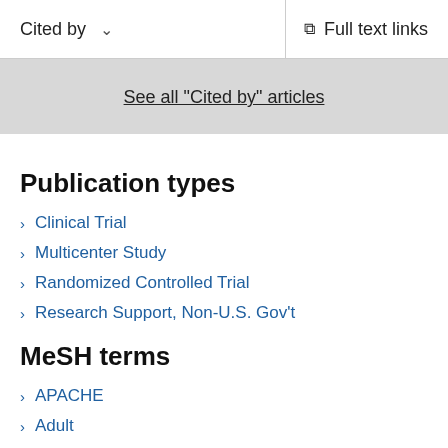Cited by  ∨    Full text links
See all "Cited by" articles
Publication types
Clinical Trial
Multicenter Study
Randomized Controlled Trial
Research Support, Non-U.S. Gov't
MeSH terms
APACHE
Adult
Aged
Antibodies, Monoclonal / therapeutic use*